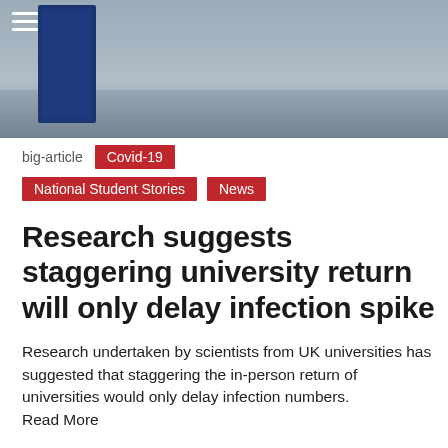[Figure (photo): Photo of a university building or lobby with a blue banner/sign, menu icon in top-left corner]
big-article  Covid-19  National Student Stories  News
Research suggests staggering university return will only delay infection spike
Research undertaken by scientists from UK universities has suggested that staggering the in-person return of universities would only delay infection numbers.
Read More